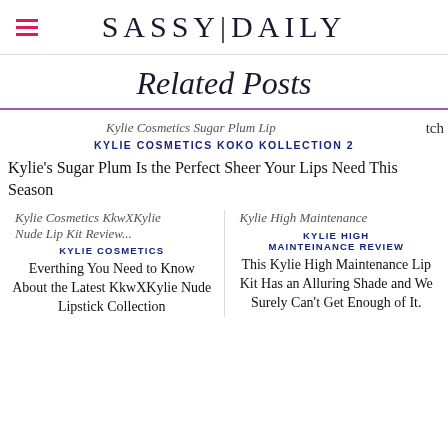SASSY|DAILY
Related Posts
[Figure (other): Broken image placeholder for Kylie Cosmetics Koko Kollection 2 post thumbnail]
KYLIE COSMETICS KOKO KOLLECTION 2
Kylie's Sugar Plum Is the Perfect Sheer Your Lips Need This Season
[Figure (other): Broken image placeholder for Kylie Cosmetics KkwXKylie post]
KYLIE COSMETICS
Everthing You Need to Know About the Latest KkwXKylie Nude Lipstick Collection
[Figure (other): Broken image placeholder for Kylie High Maintenance post]
KYLIE HIGH MAINTEINANCE REVIEW
This Kylie High Maintenance Lip Kit Has an Alluring Shade and We Surely Can't Get Enough of It.